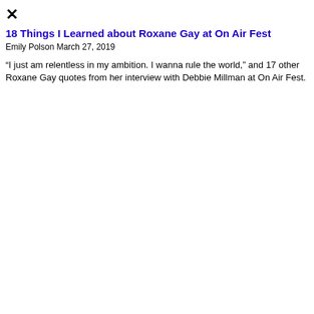18 Things I Learned about Roxane Gay at On Air Fest
Emily Polson March 27, 2019
“I just am relentless in my ambition. I wanna rule the world,” and 17 other Roxane Gay quotes from her interview with Debbie Millman at On Air Fest.